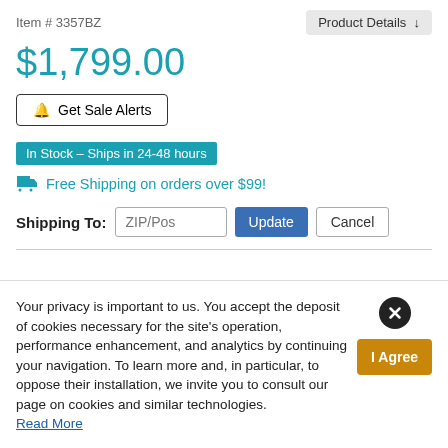Item # 3357BZ
Product Details ↓
$1,799.00
🔔 Get Sale Alerts
In Stock – Ships in 24-48 hours
🚚 Free Shipping on orders over $99!
Shipping To: ZIP/Pos [Update] [Cancel]
Your privacy is important to us. You accept the deposit of cookies necessary for the site's operation, performance enhancement, and analytics by continuing your navigation. To learn more and, in particular, to oppose their installation, we invite you to consult our page on cookies and similar technologies. Read More